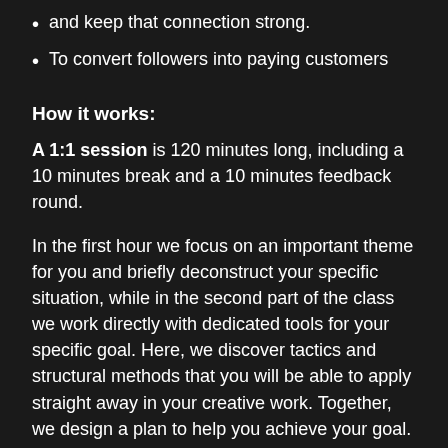and keep that connection strong.
To convert followers into paying customers
How it works:
A 1:1 session is 120 minutes long, including a 10 minutes break and a 10 minutes feedback round.
In the first hour we focus on an important theme for you and briefly deconstruct your specific situation, while in the second part of the class we work directly with dedicated tools for your specific goal. Here, we discover tactics and structural methods that you will be able to apply straight away in your creative work. Together, we design a plan to help you achieve your goal.